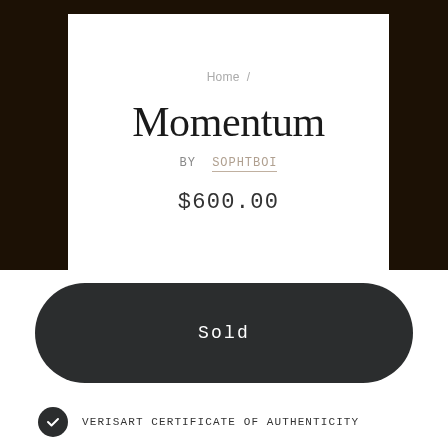[Figure (photo): Dark atmospheric artwork painting visible in background behind white card and on sides]
Home /
Momentum
BY SOPHTBOI
$600.00
Sold
VERISART CERTIFICATE OF AUTHENTICITY